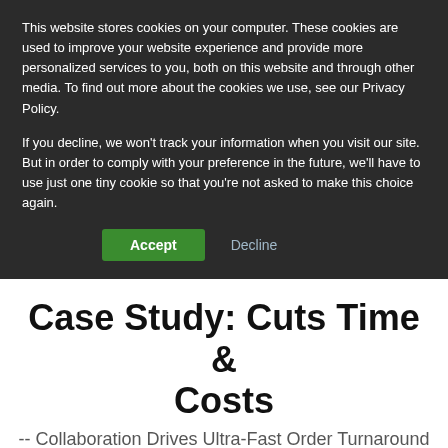This website stores cookies on your computer. These cookies are used to improve your website experience and provide more personalized services to you, both on this website and through other media. To find out more about the cookies we use, see our Privacy Policy.
If you decline, we won't track your information when you visit our site. But in order to comply with your preference in the future, we'll have to use just one tiny cookie so that you're not asked to make this choice again.
Accept  Decline
Case Study: Cuts Time & Costs
-- Collaboration Drives Ultra-Fast Order Turnaround and Reduces Man-Power by 90% for Die and Mold Company by Using XVL from Lattice Technology --